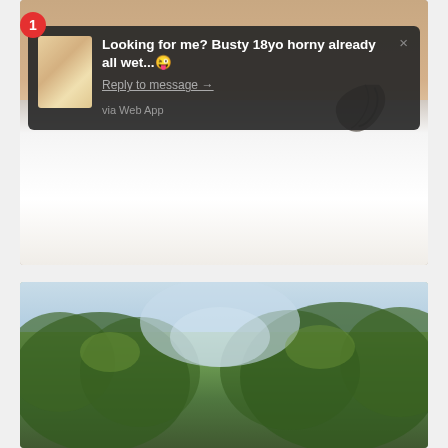[Figure (screenshot): A screenshot showing a browser/app notification overlay on top of a photo. The notification reads: 'Looking for me? Busty 18yo horny already all wet...😜' with a 'Reply to message →' link and 'via Web App' text. A red badge with number 1 appears in the top-left. A small thumbnail of a blonde woman appears in the notification. The background shows a woman in a white tank top with a tattoo and a wet/stained shirt area.]
[Figure (photo): A photo showing trees with green foliage against a bright sky, taken from below looking upward.]